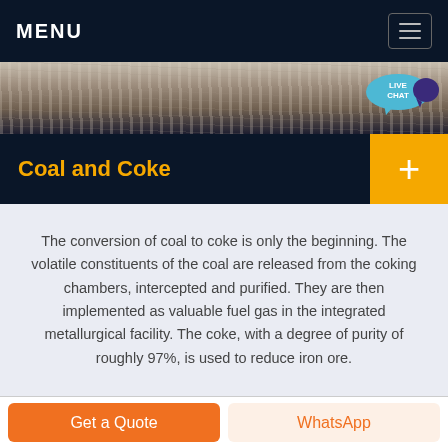MENU
[Figure (photo): Close-up photo of industrial metal or coal surface, dark textured material]
Coal and Coke
The conversion of coal to coke is only the beginning. The volatile constituents of the coal are released from the coking chambers, intercepted and purified. They are then implemented as valuable fuel gas in the integrated metallurgical facility. The coke, with a degree of purity of roughly 97%, is used to reduce iron ore.
Get a Quote
WhatsApp